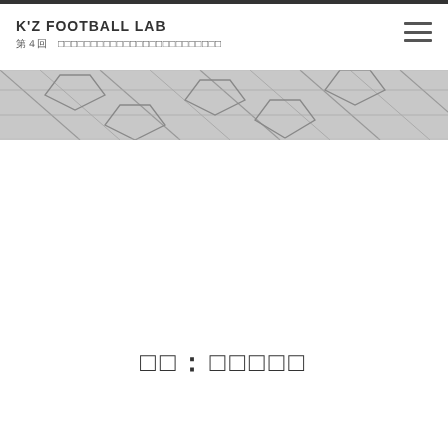K'Z FOOTBALL LAB
第4回　サッカーの育成年代における指導方針について
[Figure (photo): A close-up banner image of a football (soccer ball) surface with geometric panel lines visible in grayscale.]
著者：サッカー研究者